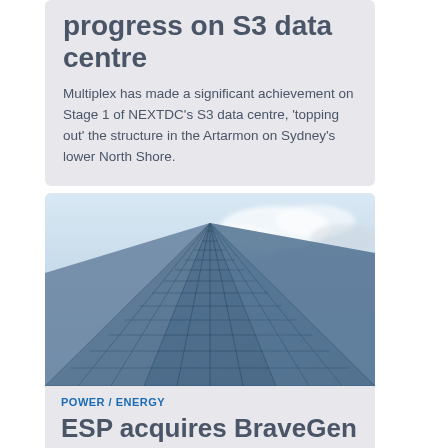progress on S3 data centre
Multiplex has made a significant achievement on Stage 1 of NEXTDC’s S3 data centre, ‘topping out’ the structure in the Artarmon on Sydney’s lower North Shore.
[Figure (photo): Looking up at a glass curtain wall skyscraper against a partly cloudy sky]
POWER / ENERGY
ESP acquires BraveGen in bid for energy efficiency